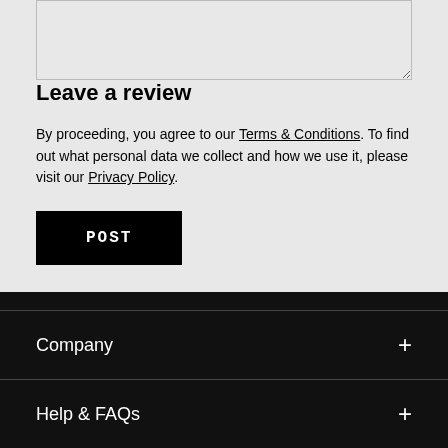Leave a review
By proceeding, you agree to our Terms & Conditions. To find out what personal data we collect and how we use it, please visit our Privacy Policy.
POST
Company
Help & FAQs